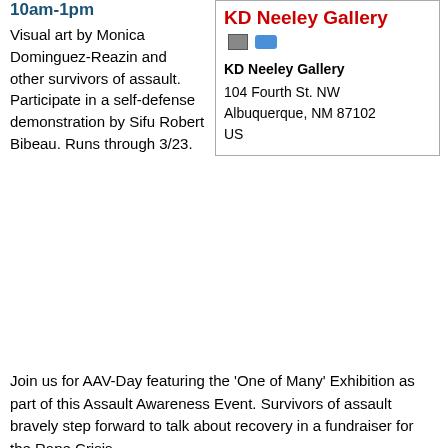10am-1pm
Visual art by Monica Dominguez-Reazin and other survivors of assault. Participate in a self-defense demonstration by Sifu Robert Bibeau. Runs through 3/23.
KD Neeley Gallery
KD Neeley Gallery
104 Fourth St. NW
Albuquerque, NM 87102
US
Join us for AAV-Day featuring the 'One of Many' Exhibition as part of this Assault Awareness Event. Survivors of assault bravely step forward to talk about recovery in a fundraiser for the Rape Crisis